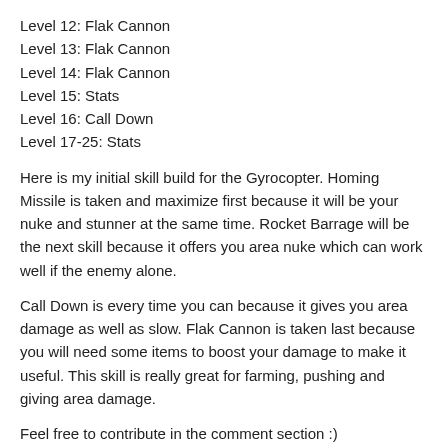Level 12: Flak Cannon
Level 13: Flak Cannon
Level 14: Flak Cannon
Level 15: Stats
Level 16: Call Down
Level 17-25: Stats
Here is my initial skill build for the Gyrocopter. Homing Missile is taken and maximize first because it will be your nuke and stunner at the same time. Rocket Barrage will be the next skill because it offers you area nuke which can work well if the enemy alone.
Call Down is every time you can because it gives you area damage as well as slow. Flak Cannon is taken last because you will need some items to boost your damage to make it useful. This skill is really great for farming, pushing and giving area damage.
Feel free to contribute in the comment section :)
Aurel Vlaicu the Gyrocopter Item Build